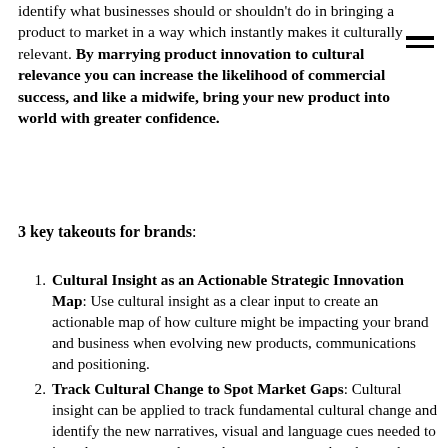identify what businesses should or shouldn't do in bringing a product to market in a way which instantly makes it culturally relevant. By marrying product innovation to cultural relevance you can increase the likelihood of commercial success, and like a midwife, bring your new product into world with greater confidence.
3 key takeouts for brands:
Cultural Insight as an Actionable Strategic Innovation Map: Use cultural insight as a clear input to create an actionable map of how culture might be impacting your brand and business when evolving new products, communications and positioning.
Track Cultural Change to Spot Market Gaps: Cultural insight can be applied to track fundamental cultural change and identify the new narratives, visual and language cues needed to introduce a new product at the very moment that the market gap is emerging, and